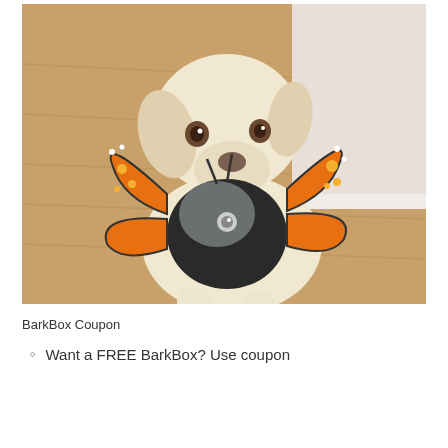[Figure (photo): A white/cream-colored dog sitting on a wood floor, holding a butterfly-shaped plush toy in its mouth. The toy has black fuzzy body, gray head with a white eye, and orange and black monarch butterfly wings. The dog is looking up at the camera.]
BarkBox Coupon
Want a FREE BarkBox? Use coupon